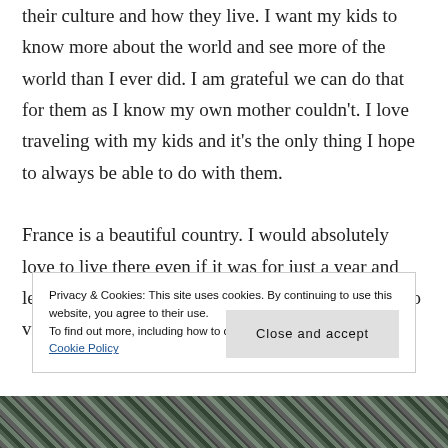their culture and how they live. I want my kids to know more about the world and see more of the world than I ever did. I am grateful we can do that for them as I know my own mother couldn't. I love traveling with my kids and it's the only thing I hope to always be able to do with them.
France is a beautiful country. I would absolutely love to live there even if it was for just a year and learn french. There are so many places I still want to visit
Privacy & Cookies: This site uses cookies. By continuing to use this website, you agree to their use.
To find out more, including how to control cookies, see here:
Cookie Policy
[Figure (photo): Black and white photo strip at the bottom of the page showing trees or vegetation]